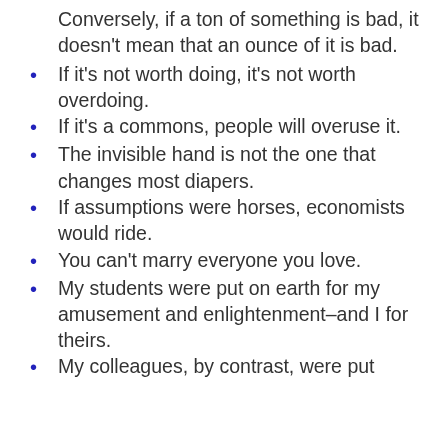Conversely, if a ton of something is bad, it doesn't mean that an ounce of it is bad.
If it's not worth doing, it's not worth overdoing.
If it's a commons, people will overuse it.
The invisible hand is not the one that changes most diapers.
If assumptions were horses, economists would ride.
You can't marry everyone you love.
My students were put on earth for my amusement and enlightenment–and I for theirs.
My colleagues, by contrast, were put